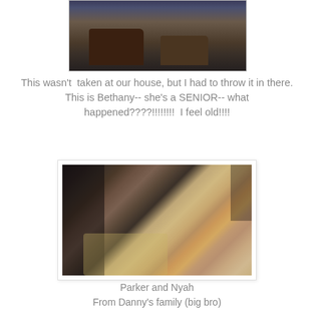[Figure (photo): Partial photo showing someone's boots/feet on pavement, cropped at top]
This wasn't taken at our house, but I had to throw it in there. This is Bethany-- she's a SENIOR-- what happened????!!!!!!!  I feel old!!!!
[Figure (photo): Photo of children on a couch: a red-haired boy smiling and a girl with dark hair, holding a baby and a toddler with blonde hair]
Parker and Nyah
From Danny's family (big bro)